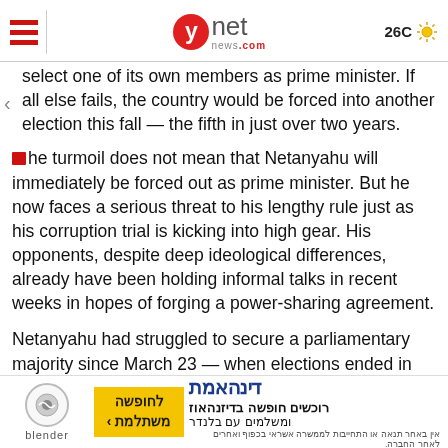ynet news.com | 26C
select one of its own members as prime minister. If all else fails, the country would be forced into another election this fall — the fifth in just over two years.
The turmoil does not mean that Netanyahu will immediately be forced out as prime minister. But he now faces a serious threat to his lengthy rule just as his corruption trial is kicking into high gear. His opponents, despite deep ideological differences, already have been holding informal talks in recent weeks in hopes of forging a power-sharing agreement.
Netanyahu had struggled to secure a parliamentary majority since March 23 — when elections ended in deadlock for the fourth consecutive time in the past two years. Despite repeated meetings with many of his rivals and unprecedented outreach to the leader of a small Islamist Arab party, Netanyahu was unable to close a deal.
Rivlin gave Netanyahu the first chance to form a coalition after 52 members of parliament endorsed him as prime minister last month. That was short of a majority, but the
[Figure (infographic): Advertisement banner for Blender and Dinehamat with Hebrew text]